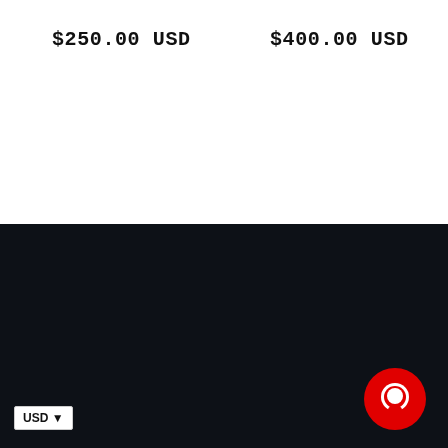$250.00 USD
$400.00 USD
Quick links
FAQ
Shipping Instructions
Contact Us
My Wishlist
Gift Cards
USD
Return Policy
[Figure (illustration): Red circular chat bubble button in bottom-right corner]